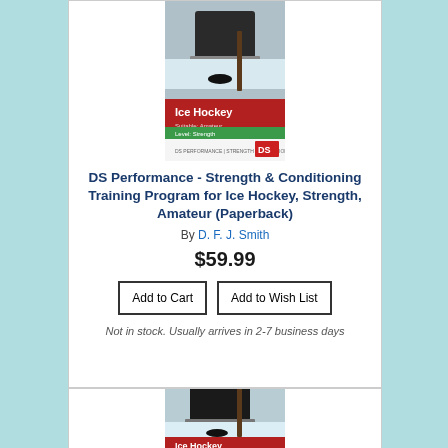[Figure (illustration): Book cover for DS Performance - Strength & Conditioning Training Program for Ice Hockey, Strength, Amateur. Shows ice hockey skate on ice with puck. Red and green band design with DS logo.]
DS Performance - Strength & Conditioning Training Program for Ice Hockey, Strength, Amateur (Paperback)
By D. F. J. Smith
$59.99
Not in stock. Usually arrives in 2-7 business days
[Figure (illustration): Second book cover for Ice Hockey DS Performance training program, same design as above.]